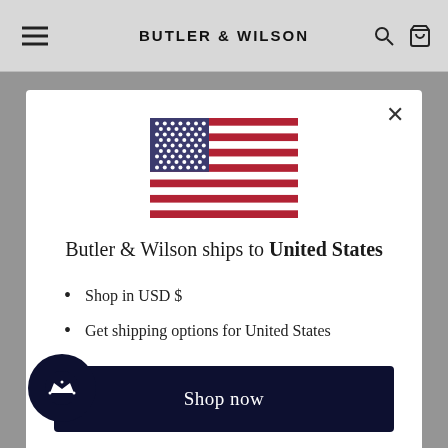BUTLER & WILSON
[Figure (illustration): US flag SVG illustration]
Butler & Wilson ships to United States
Shop in USD $
Get shipping options for United States
Shop now
Change shipping country
add gorgeous elephant brooch to your accessories collection and wear it with pride.